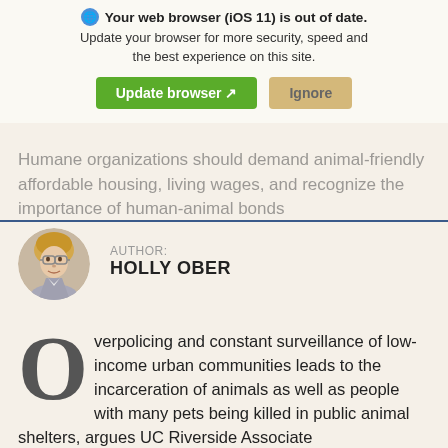Want to save shelter animals? Fight for social justice
Your web browser (iOS 11) is out of date. Update your browser for more security, speed and the best experience on this site.
Humane organizations should demand animal-friendly affordable housing, living wages, and recognize the importance of human-animal bonds
AUTHOR: HOLLY OBER
[Figure (photo): Circular headshot photo of Holly Ober, a woman with short blonde hair]
Overpolicing and constant surveillance of low-income urban communities leads to the incarceration of animals as well as people with many pets being killed in public animal shelters, argues UC Riverside Associate